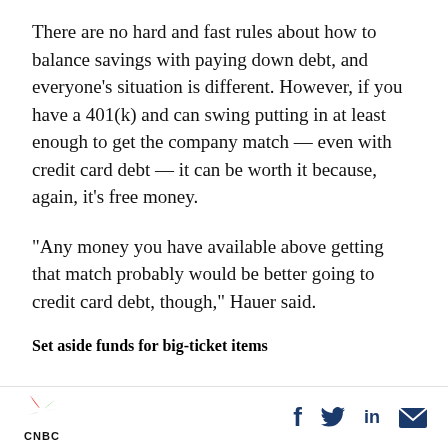There are no hard and fast rules about how to balance savings with paying down debt, and everyone’s situation is different. However, if you have a 401(k) and can swing putting in at least enough to get the company match — even with credit card debt — it can be worth it because, again, it’s free money.
“Any money you have available above getting that match probably would be better going to credit card debt, though,” Hauer said.
Set aside funds for big-ticket items
[Figure (logo): CNBC peacock logo with CNBC text below]
[Figure (infographic): Social media share icons: Facebook (f), Twitter (bird), LinkedIn (in), Email (envelope)]